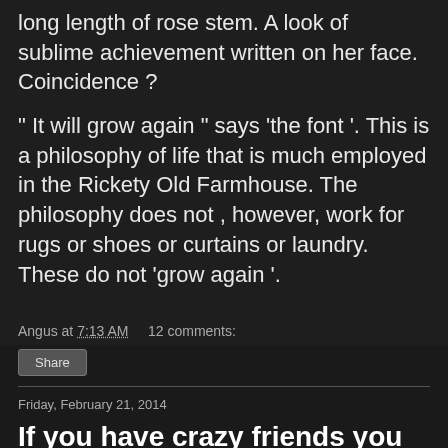long length of rose stem. A look of sublime achievement written on her face.  Coincidence ?

" It will grow again " says 'the font '. This is a philosophy of life that is much employed in the Rickety Old Farmhouse. The philosophy does not , however, work for rugs or shoes or curtains or laundry. These do not 'grow again '.
Angus at 7:13 AM    12 comments:
Share
Friday, February 21, 2014
If you have crazy friends you have